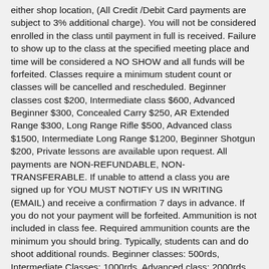either shop location, (All Credit /Debit Card payments are subject to 3% additional charge). You will not be considered enrolled in the class until payment in full is received. Failure to show up to the class at the specified meeting place and time will be considered a NO SHOW and all funds will be forfeited. Classes require a minimum student count or classes will be cancelled and rescheduled. Beginner classes cost $200, Intermediate class $600, Advanced Beginner $300, Concealed Carry $250, AR Extended Range $300, Long Range Rifle $500, Advanced class $1500, Intermediate Long Range $1200, Beginner Shotgun $200, Private lessons are available upon request. All payments are NON-REFUNDABLE, NON-TRANSFERABLE. If unable to attend a class you are signed up for YOU MUST NOTIFY US IN WRITING (EMAIL) and receive a confirmation 7 days in advance. If you do not your payment will be forfeited. Ammunition is not included in class fee. Required ammunition counts are the minimum you should bring. Typically, students can and do shoot additional rounds. Beginner classes: 500rds, Intermediate Classes: 1000rds, Advanced class: 2000rds, Long Range: 120rds, Intermediate Long Range: 400rds Rifle and 200rds Carbine, 200rds. Handgun, Shotgun 150rds Buckshot – 50rds Slugs, Concealed Carry 400rds, AR Extended Range 300rds., Low Light 500rds, Advanced Beginner 600rds. List of Required Items: *If you show up to class without required equipment you may not be able to participate in all activities and will forfeit your enrollment fee* Modern Firearm – Auto Handgun, Carbine/AK, Shotgun or Rifle capable of Long Range in good working condition depending on what class you are attending. Calibers: 9mm - .45ACP (handgun), .223-.338 (rifle/carbine) Quality ammunition in the